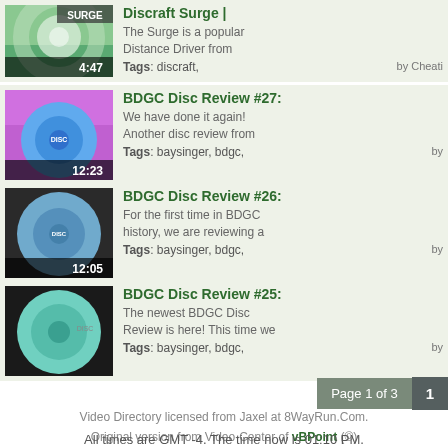Discraft Surge | 4:47 - The Surge is a popular Distance Driver from Tags: discraft, by Cheati
BDGC Disc Review #27: 12:23 - We have done it again! Another disc review from Tags: baysinger, bdgc, by
BDGC Disc Review #26: 12:05 - For the first time in BDGC history, we are reviewing a Tags: baysinger, bdgc, by
BDGC Disc Review #25: 14:29 - The newest BDGC Disc Review is here! This time we Tags: baysinger, bdgc, by
Page 1 of 3
Video Directory licensed from Jaxel at 8WayRun.Com.
Original version from Video-Center of vBPoint (©)
All times are GMT -4. The time now is 01:10 PM.